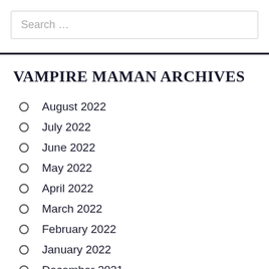Search …
VAMPIRE MAMAN ARCHIVES
August 2022
July 2022
June 2022
May 2022
April 2022
March 2022
February 2022
January 2022
December 2021
November 2021